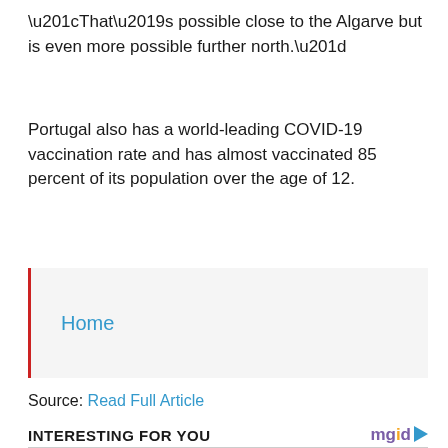“That’s possible close to the Algarve but is even more possible further north.”
Portugal also has a world-leading COVID-19 vaccination rate and has almost vaccinated 85 percent of its population over the age of 12.
Home
Source: Read Full Article
INTERESTING FOR YOU
[Figure (photo): Photo of a woman with dark hair pulled back, standing outdoors against an urban rooftop skyline backdrop with brick buildings.]